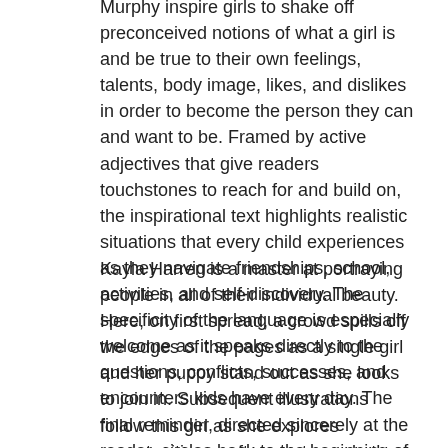Murphy inspire girls to shake off preconceived notions of what a girl is and be true to their own feelings, talents, body image, likes, and dislikes in order to become the person they can and want to be. Framed by active adjectives that give readers touchstones to reach for and build on, the inspirational text highlights realistic situations that every child experiences as they navigate friendships, school, activities, and self-discovery. The specificity of the language is especially welcome as it speaks directly to the questions, conflicts, successes, and encounters kids have every day. The final reminder, directed sincerely at the reader, circles back to the beginning of the book and reinforces the idea that they are needed and inherently exceptional.
Kayla Harren is a master at portraying people in all of their individual beauty. Here, on first spread, a crowd spills off the edges of the pages as a single girl and her puppy stand out as she looks to join in. Subsequent illustrations follow this girl as she explores opportunities, crafts, sports, and other activities, sometimes alone and often with a group of friends. These group images are stirring for their diversity in ethnicity, body type, abilities, and expressions. Each page gives children and